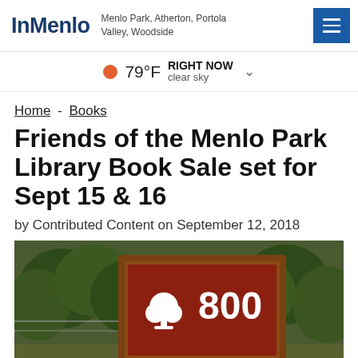InMenlo — Menlo Park, Atherton, Portola Valley, Woodside
79°F RIGHT NOW clear sky
Home - Books
Friends of the Menlo Park Library Book Sale set for Sept 15 & 16
by Contributed Content on September 12, 2018
[Figure (photo): A wooden-framed brown sign with a white tree logo and the number 800, surrounded by green trees in the background.]